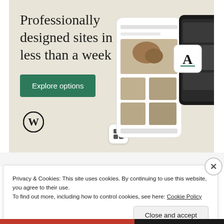[Figure (screenshot): WordPress advertisement banner with beige/tan background showing 'Professionally designed sites in less than a week' headline, green 'Explore options' button, WordPress W logo, and website mockup screenshots on the right side.]
REPORT THIS AD
Privacy & Cookies: This site uses cookies. By continuing to use this website, you agree to their use.
To find out more, including how to control cookies, see here: Cookie Policy
Close and accept